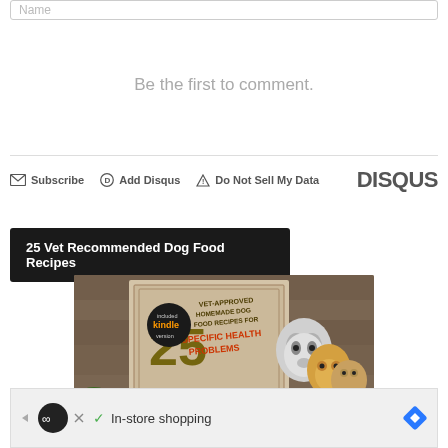Name
Be the first to comment.
Subscribe  Add Disqus  Do Not Sell My Data   DISQUS
25 Vet Recommended Dog Food Recipes
[Figure (photo): Book cover showing '25 Vet-Approved Homemade Dog Food Recipes for Specific Health Problems' with images of dogs and a Kindle version badge]
In-store shopping